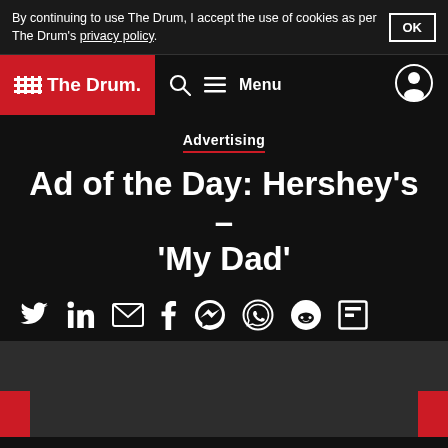By continuing to use The Drum, I accept the use of cookies as per The Drum's privacy policy.
The Drum — Navigation bar with logo, search, menu, and user icon
Advertising
Ad of the Day: Hershey’s – ‘My Dad’
[Figure (infographic): Social sharing icons row: Twitter, LinkedIn, Email, Facebook, Messenger, WhatsApp, Reddit, Flipboard]
[Figure (photo): Dark grey media/video placeholder area with red bars at bottom left and right corners]